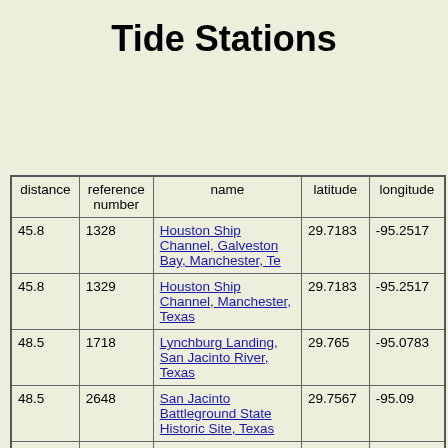Tide Stations
| distance | reference number | name | latitude | longitude |
| --- | --- | --- | --- | --- |
| 45.8 | 1328 | Houston Ship Channel, Galveston Bay, Manchester, Te | 29.7183 | -95.2517 |
| 45.8 | 1329 | Houston Ship Channel, Manchester, Texas | 29.7183 | -95.2517 |
| 48.5 | 1718 | Lynchburg Landing, San Jacinto River, Texas | 29.765 | -95.0783 |
| 48.5 | 2648 | San Jacinto Battleground State Historic Site, Texas | 29.7567 | -95.09 |